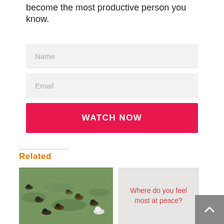become the most productive person you know.
Name
Email
WATCH NOW
Related
[Figure (photo): Ducks and birds swimming in a green pond or lake]
Where do you feel most at peace?